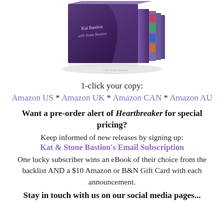[Figure (photo): A stack of book box set with purple cover, author names Kat Bastion with Stone Bastion visible on the spine]
1-click your copy:
Amazon US * Amazon UK * Amazon CAN * Amazon AU
Want a pre-order alert of Heartbreaker for special pricing?
Keep informed of new releases by signing up:
Kat & Stone Bastion's Email Subscription
One lucky subscriber wins an eBook of their choice from the backlist AND a $10 Amazon or B&N Gift Card with each announcement.
Stay in touch with us on our social media pages...